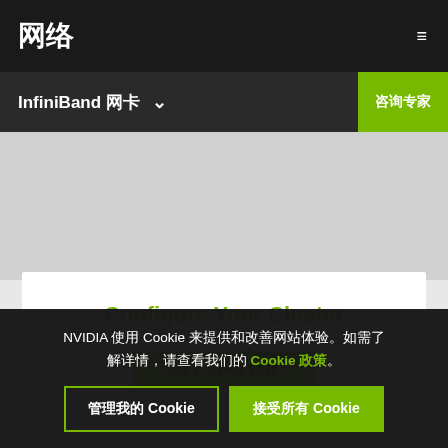网络
InfiniBand 网卡
咨询专家
[Figure (screenshot): Gray placeholder content area representing a webpage background]
Configure Your Cluster
GET STARTED
NVIDIA 使用 Cookie 来提供和改善网站体验。如需了解详情，请查看我们的 Cookie 政策。
管理我的 Cookie
接受所有 Cookie
Take Networking Courses